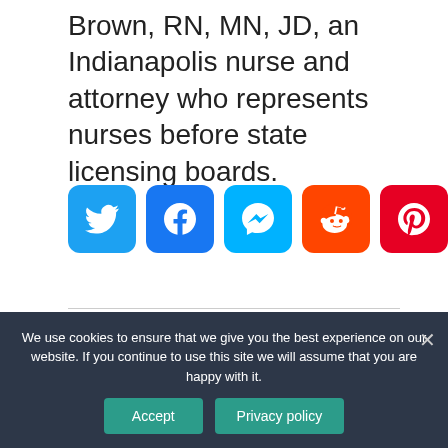Brown, RN, MN, JD, an Indianapolis nurse and attorney who represents nurses before state licensing boards.
[Figure (infographic): Row of 8 social media share buttons: Twitter (blue), Facebook (blue), Messenger (light blue), Reddit (orange), Pinterest (dark red), WhatsApp (green), LinkedIn (dark blue), Telegram (light blue)]
[Figure (photo): Thumbnail image placeholder (grey box) for previous article]
PREVIOUS ARTICLE
How much does a title transfer cost in Ohio?
We use cookies to ensure that we give you the best experience on our website. If you continue to use this site we will assume that you are happy with it.